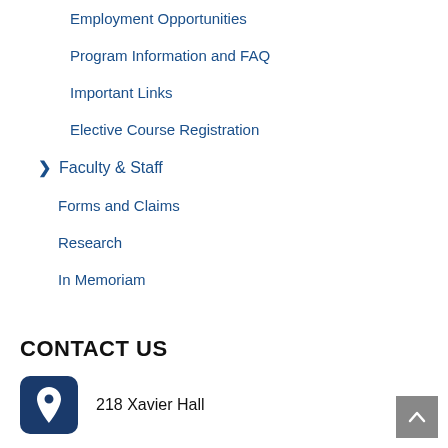Employment Opportunities
Program Information and FAQ
Important Links
Elective Course Registration
Faculty & Staff
Forms and Claims
Research
In Memoriam
CONTACT US
218 Xavier Hall